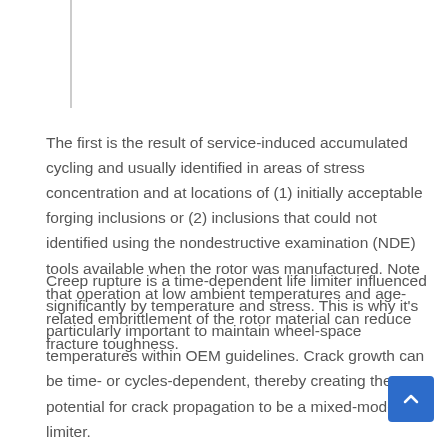The first is the result of service-induced accumulated cycling and usually identified in areas of stress concentration and at locations of (1) initially acceptable forging inclusions or (2) inclusions that could not identified using the nondestructive examination (NDE) tools available when the rotor was manufactured. Note that operation at low ambient temperatures and age-related embrittlement of the rotor material can reduce fracture toughness.
Creep rupture is a time-dependent life limiter influenced significantly by temperature and stress. This is why it's particularly important to maintain wheel-space temperatures within OEM guidelines. Crack growth can be time- or cycles-dependent, thereby creating the potential for crack propagation to be a mixed-mode life limiter.